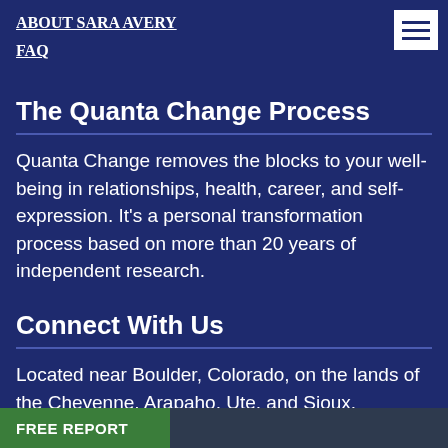ABOUT SARA AVERY
FAQ
The Quanta Change Process
Quanta Change removes the blocks to your well-being in relationships, health, career, and self-expression. It's a personal transformation process based on more than 20 years of independent research.
Connect With Us
Located near Boulder, Colorado, on the lands of the Cheyenne, Arapaho, Ute, and Sioux.
FREE REPORT